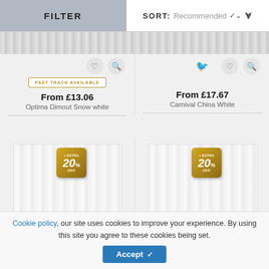FILTER
SORT: Recommended
[Figure (screenshot): Product thumbnail strip for Optima Dimout Snow white with heart and search icons and FAST TRACK AVAILABLE badge]
From £13.06
Optima Dimout Snow white
[Figure (screenshot): Product thumbnail strip for Carnival China White with eco icon, heart and search icons]
From £17.67
Carnival China White
[Figure (screenshot): Vertical blind product image for left product with EXTRA 20% OFF gold badge]
[Figure (screenshot): Vertical blind product image for right product with EXTRA 20% OFF gold badge]
Cookie policy, our site uses cookies to improve your experience. By using this site you agree to these cookies being set.
Accept